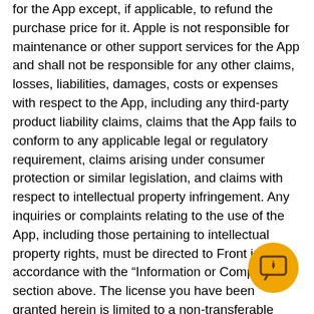for the App except, if applicable, to refund the purchase price for it. Apple is not responsible for maintenance or other support services for the App and shall not be responsible for any other claims, losses, liabilities, damages, costs or expenses with respect to the App, including any third-party product liability claims, claims that the App fails to conform to any applicable legal or regulatory requirement, claims arising under consumer protection or similar legislation, and claims with respect to intellectual property infringement. Any inquiries or complaints relating to the use of the App, including those pertaining to intellectual property rights, must be directed to Front in accordance with the “Information or Complaints” section above. The license you have been granted herein is limited to a non-transferable license to use the App on an Apple-branded product that runs Apple’s iOS operating system and is owned or controlled by you, or as otherwise permitted by the Usage Rules set forth in Apple’s App Store Terms of Service, except that the App may also be accessed and used by other accounts associated with you via Apple Family Sharing or volume purchasing programs. In addition, you must comply with the terms of any third-party agreement